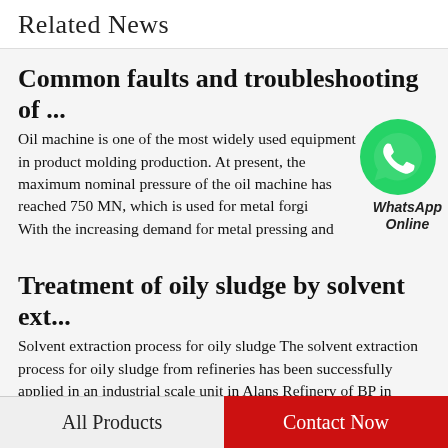Related News
Common faults and troubleshooting of ...
Oil machine is one of the most widely used equipment in product molding production. At present, the maximum nominal pressure of the oil machine has reached 750 MN, which is used for metal forgi… With the increasing demand for metal pressing and…
[Figure (illustration): WhatsApp Online chat bubble icon with green background and phone icon, with text 'WhatsApp Online' below it]
Treatment of oily sludge by solvent ext...
Solvent extraction process for oily sludge The solvent extraction process for oily sludge from refineries has been successfully applied in an industrial scale unit in Alans Refinery of BP in 1987. The purpose of developing this solvent extraction process
All Products | Contact Now